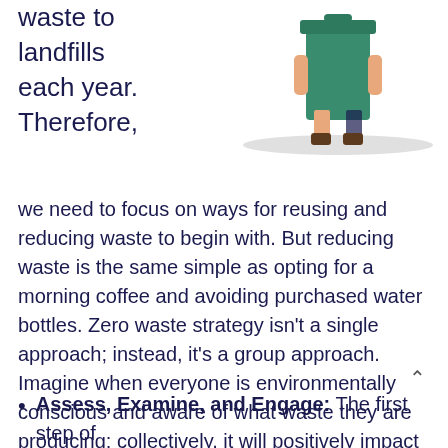waste to landfills each year. Therefore,
[Figure (illustration): Illustration of a person standing next to a green recycling/waste bin, showing legs and boots with a shadow on the ground]
we need to focus on ways for reusing and reducing waste to begin with. But reducing waste is the same simple as opting for a morning coffee and avoiding purchased water bottles. Zero waste strategy isn't a single approach; instead, it's a group approach. Imagine when everyone is environmentally conscious and aware of what waste they are producing; collectively, it will positively impact our planet.
Assess, Examine, and Engage: The first step of